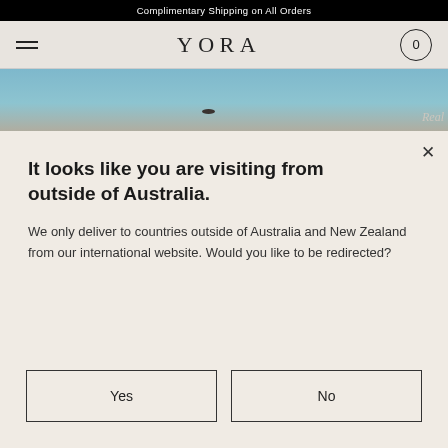Complimentary Shipping on All Orders
[Figure (logo): YORA brand logo with hamburger menu icon on left and cart icon (0) on right, navigation bar on beige background]
[Figure (photo): Partial hero image showing light blue sky with a small dark oval shape (stone or product) and partial text 'Real' on right side]
It looks like you are visiting from outside of Australia.
We only deliver to countries outside of Australia and New Zealand from our international website. Would you like to be redirected?
Yes
No